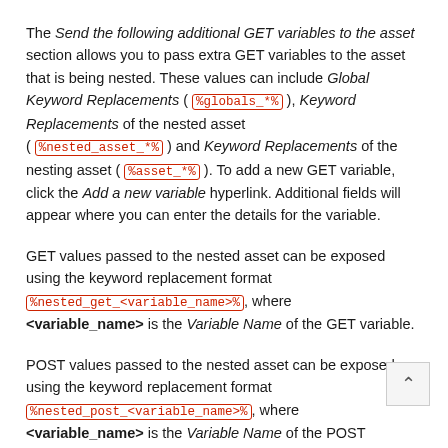The Send the following additional GET variables to the asset section allows you to pass extra GET variables to the asset that is being nested. These values can include Global Keyword Replacements ( %globals_*% ), Keyword Replacements of the nested asset ( %nested_asset_*% ) and Keyword Replacements of the nesting asset ( %asset_*% ). To add a new GET variable, click the Add a new variable hyperlink. Additional fields will appear where you can enter the details for the variable.
GET values passed to the nested asset can be exposed using the keyword replacement format %nested_get_<variable_name>%, where <variable_name> is the Variable Name of the GET variable.
POST values passed to the nested asset can be exposed using the keyword replacement format %nested_post_<variable_name>%, where <variable_name> is the Variable Name of the POST variable.